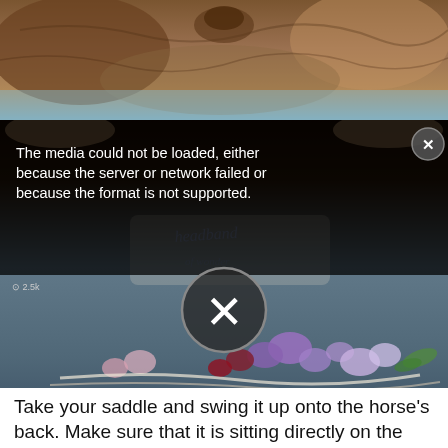[Figure (screenshot): Top portion of a video frame showing leather saddle and rustic outdoor scene]
[Figure (screenshot): Video player with error overlay message and X close button. Error text reads: The media could not be loaded, either because the server or network failed or because the format is not supported. Large X dismiss button overlaid on video frame showing headband product with flowers and accessories. Bottom portion shows lower half of video with saddle buckle and grass.]
The media could not be loaded, either because the server or network failed or because the format is not supported.
[Figure (photo): Bottom photo showing saddle buckle and leather strap on grassy background with Pinterest and share buttons]
Take your saddle and swing it up onto the horse's back. Make sure that it is sitting directly on the